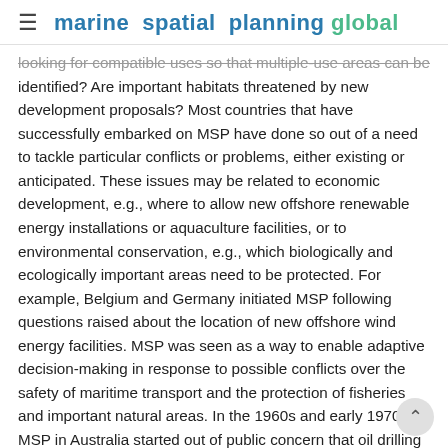marine spatial planning global
looking for compatible uses so that multiple-use areas can be identified? Are important habitats threatened by new development proposals? Most countries that have successfully embarked on MSP have done so out of a need to tackle particular conflicts or problems, either existing or anticipated. These issues may be related to economic development, e.g., where to allow new offshore renewable energy installations or aquaculture facilities, or to environmental conservation, e.g., which biologically and ecologically important areas need to be protected. For example, Belgium and Germany initiated MSP following questions raised about the location of new offshore wind energy facilities. MSP was seen as a way to enable adaptive decision-making in response to possible conflicts over the safety of maritime transport and the protection of fisheries and important natural areas. In the 1960s and early 1970s, MSP in Australia started out of public concern that oil drilling and limestone mining would conflict with the protection of the Great Barrier Reef. In South Africa and Nami today potential conflicts between offshore phosphate mining and